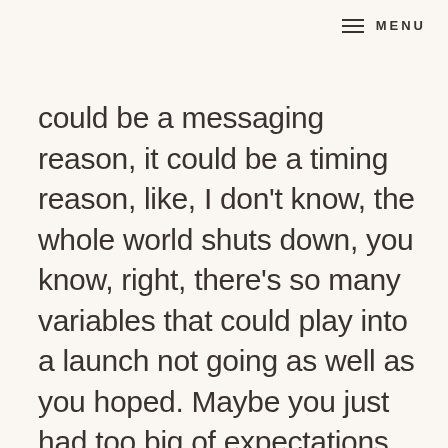MENU
could be a messaging reason, it could be a timing reason, like, I don't know, the whole world shuts down, you know, right, there's so many variables that could play into a launch not going as well as you hoped. Maybe you just had too big of expectations for what your conversion rate or your revenue goal should have been, right? There's so many reasons